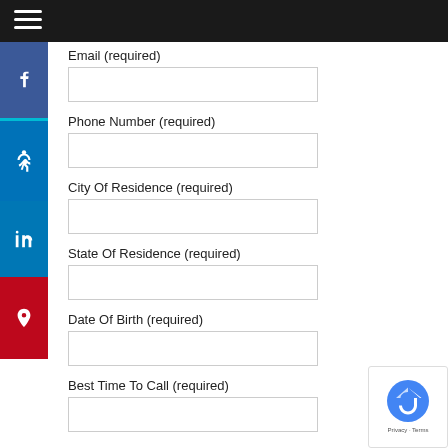☰ (navigation bar)
Email (required)
Phone Number (required)
City Of Residence (required)
State Of Residence (required)
Date Of Birth (required)
Best Time To Call (required)